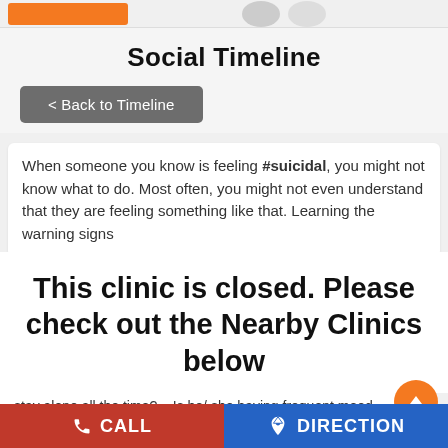Social Timeline
< Back to Timeline
When someone you know is feeling #suicidal, you might not know what to do. Most often, you might not even understand that they are feeling something like that. Learning the warning signs
This clinic is closed. Please check out the Nearby Clinics below
stay alone all the time? – Is he/ she having frequent mood swings and #emotional outbursts? – Are they getting dependent on drugs and alcohol? – Saying goodbye or giving good bye hugs as if they won't be seen again. – Are their eating, sleeping,
CALL   DIRECTION